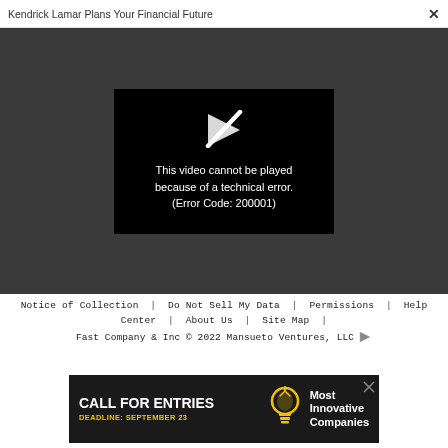Kendrick Lamar Plans Your Financial Future  ✕
[Figure (screenshot): Black video player box showing a broken/errored video icon (play button with slash through it) above error text: 'This video cannot be played because of a technical error. (Error Code: 200001)' on a dark gray background]
Notice of Collection  |  Do Not Sell My Data  |  Permissions  |  Help Center  |  About Us  |  Site Map  |  Fast Company & Inc © 2022 Mansueto Ventures, LLC
[Figure (infographic): Advertisement banner: black background with 'CALL FOR ENTRIES' in large white bold text, 'DEADLINE: SEPTEMBER 23' in yellow, a lightbulb icon, and 'Most Innovative Companies' in white bold text on the right.]